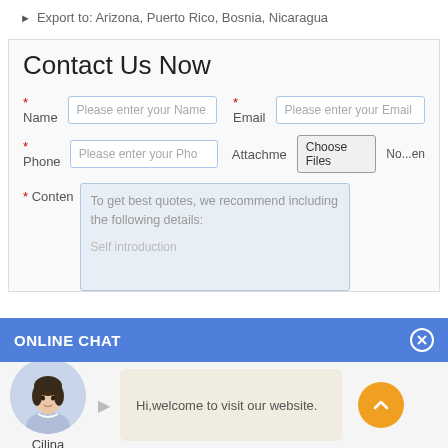Export to: Arizona, Puerto Rico, Bosnia, Nicaragua
Contact Us Now
* Name   Please enter your Name   * Email   Please enter your Email
* Phone   Please enter your Phone   Attachment   Choose Files   No...en
* Content   To get best quotes, we recommend including the following details:
Self introduction
ONLINE CHAT
[Figure (illustration): Online chat widget with avatar of a woman named Cilina, a chat bubble saying 'Hi,welcome to visit our website.' and an orange scroll-up button]
Cilina
Hi,welcome to visit our website.